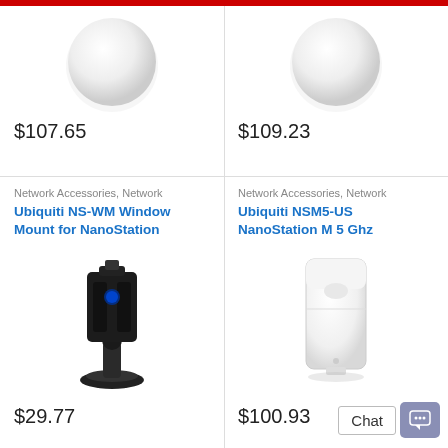[Figure (photo): White sphere/dome product image, top-left]
$107.65
[Figure (photo): White sphere/dome product image, top-right]
$109.23
Network Accessories, Network
Ubiquiti NS-WM Window Mount for NanoStation
[Figure (photo): Black Ubiquiti window mount for NanoStation with suction cup base]
$29.77
Network Accessories, Network
Ubiquiti NSM5-US NanoStation M 5 Ghz
[Figure (photo): White Ubiquiti NanoStation M 5 GHz device]
$100.93